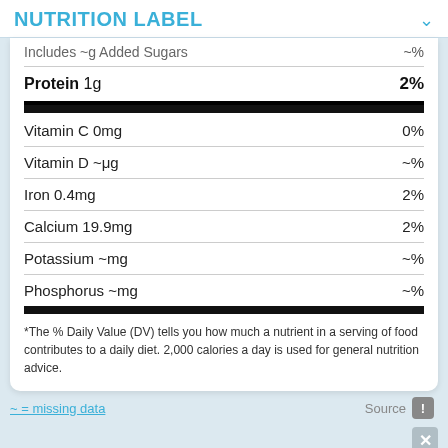NUTRITION LABEL
| Nutrient | % Daily Value |
| --- | --- |
| Includes ~g Added Sugars | ~% |
| Protein 1g | 2% |
| Vitamin C 0mg | 0% |
| Vitamin D ~µg | ~% |
| Iron 0.4mg | 2% |
| Calcium 19.9mg | 2% |
| Potassium ~mg | ~% |
| Phosphorus ~mg | ~% |
*The % Daily Value (DV) tells you how much a nutrient in a serving of food contributes to a daily diet. 2,000 calories a day is used for general nutrition advice.
~ = missing data
Source
Ingredients: Corn, Vegetable Oil (Contains One Or More Of The Following: Corn, Cottonseed, Sunflower, Soybean, Or